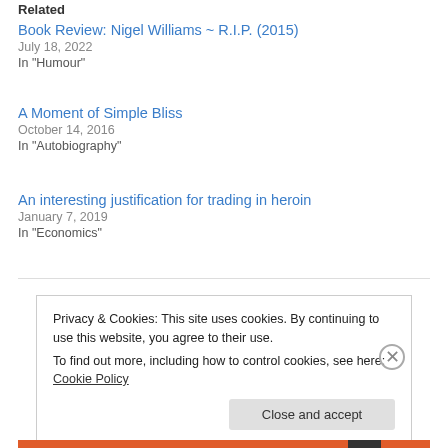Related
Book Review: Nigel Williams ~ R.I.P. (2015)
July 18, 2022
In "Humour"
A Moment of Simple Bliss
October 14, 2016
In "Autobiography"
An interesting justification for trading in heroin
January 7, 2019
In "Economics"
Privacy & Cookies: This site uses cookies. By continuing to use this website, you agree to their use.
To find out more, including how to control cookies, see here: Cookie Policy